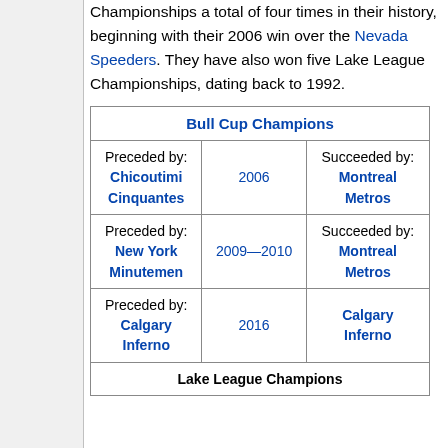Championships a total of four times in their history, beginning with their 2006 win over the Nevada Speeders. They have also won five Lake League Championships, dating back to 1992.
| Bull Cup Champions |
| --- |
| Preceded by: Chicoutimi Cinquantes | 2006 | Succeeded by: Montreal Metros |
| Preceded by: New York Minutemen | 2009—2010 | Succeeded by: Montreal Metros |
| Preceded by: Calgary Inferno | 2016 | Calgary Inferno |
| Lake League Champions |  |  |